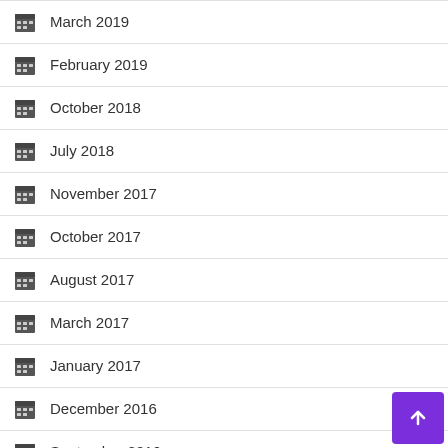March 2019
February 2019
October 2018
July 2018
November 2017
October 2017
August 2017
March 2017
January 2017
December 2016
September 2016
June 2016
May 2016